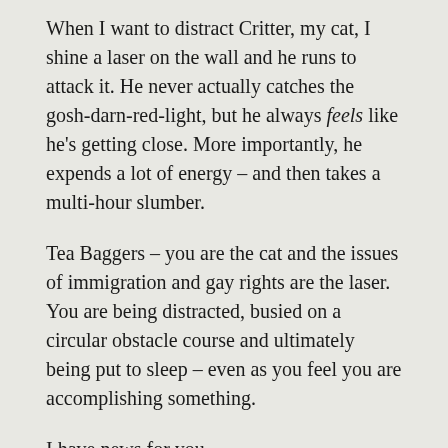When I want to distract Critter, my cat, I shine a laser on the wall and he runs to attack it. He never actually catches the gosh-darn-red-light, but he always feels like he's getting close. More importantly, he expends a lot of energy – and then takes a multi-hour slumber.
Tea Baggers – you are the cat and the issues of immigration and gay rights are the laser. You are being distracted, busied on a circular obstacle course and ultimately being put to sleep – even as you feel you are accomplishing something.
I have news for you.
You are never going to stop people from crossing the border, as long as there are better economic opportunities in America. You are never going to stop